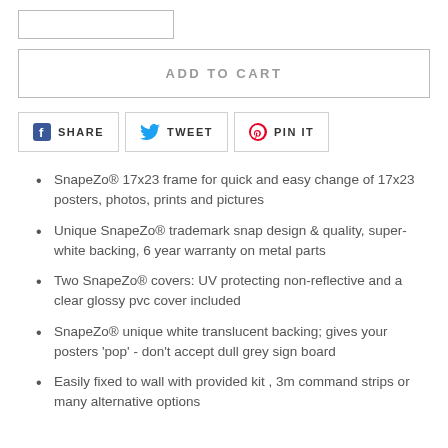[Figure (other): Partial view of a form/input element at top of page (cropped)]
ADD TO CART
[Figure (other): Social sharing buttons: SHARE (Facebook), TWEET (Twitter), PIN IT (Pinterest)]
SnapeZo® 17x23 frame for quick and easy change of 17x23 posters, photos, prints and pictures
Unique SnapeZo® trademark snap design & quality, super-white backing, 6 year warranty on metal parts
Two SnapeZo® covers: UV protecting non-reflective and a clear glossy pvc cover included
SnapeZo® unique white translucent backing; gives your posters 'pop' - don't accept dull grey sign board
Easily fixed to wall with provided kit , 3m command strips or many alternative options